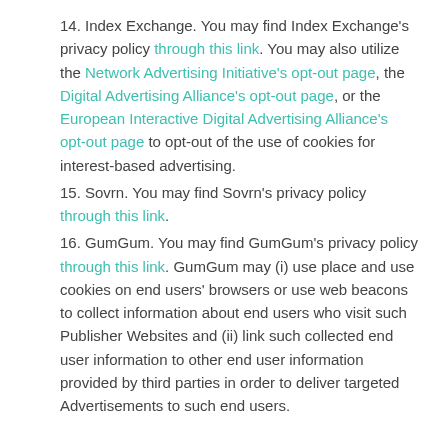14. Index Exchange. You may find Index Exchange's privacy policy through this link. You may also utilize the Network Advertising Initiative's opt-out page, the Digital Advertising Alliance's opt-out page, or the European Interactive Digital Advertising Alliance's opt-out page to opt-out of the use of cookies for interest-based advertising.
15. Sovrn. You may find Sovrn's privacy policy through this link.
16. GumGum. You may find GumGum's privacy policy through this link. GumGum may (i) use place and use cookies on end users' browsers or use web beacons to collect information about end users who visit such Publisher Websites and (ii) link such collected end user information to other end user information provided by third parties in order to deliver targeted Advertisements to such end users.